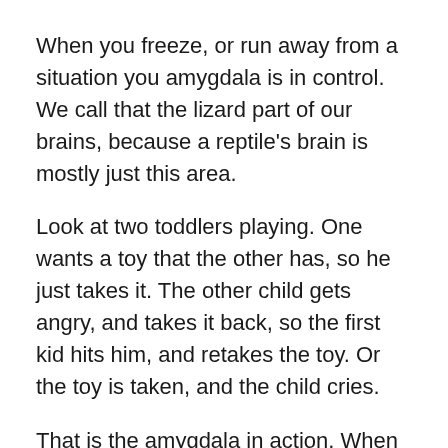When you freeze, or run away from a situation you amygdala is in control. We call that the lizard part of our brains, because a reptile's brain is mostly just this area.
Look at two toddlers playing. One wants a toy that the other has, so he just takes it. The other child gets angry, and takes it back, so the first kid hits him, and retakes the toy. Or the toy is taken, and the child cries.
That is the amygdala in action. When you get into fight with someone, and they say something, and you react by either storming off, or saying something back without thinking, that is your lizard brain in action.
Now as humans, we have complex brains, and the lizard brain is only a small part of our cerebral system. We don't have to do what our lizard brain tells us to do. We can get